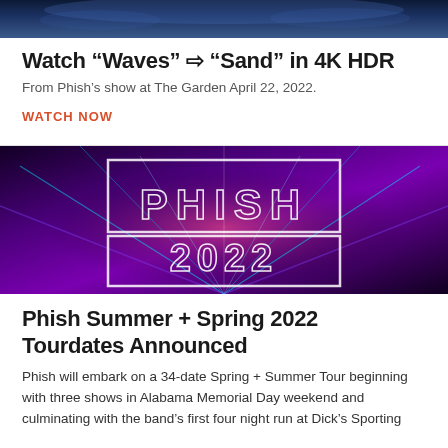[Figure (photo): Concert crowd photo at top of page, partially cropped]
Watch “Waves” ⇨ “Sand” in 4K HDR
From Phish’s show at The Garden April 22, 2022.
WATCH NOW
[Figure (photo): Phish 2022 concert promotion image with laser lights and PHISH 2022 text overlay]
Phish Summer + Spring 2022 Tourdates Announced
Phish will embark on a 34-date Spring + Summer Tour beginning with three shows in Alabama Memorial Day weekend and culminating with the band’s first four night run at Dick’s Sporting